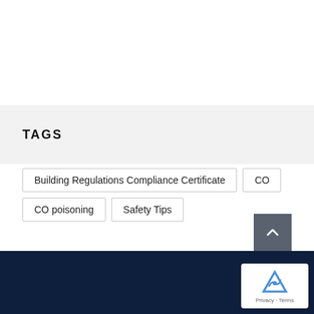TAGS
Building Regulations Compliance Certificate
CO
CO poisoning
Safety Tips
Privacy · Terms